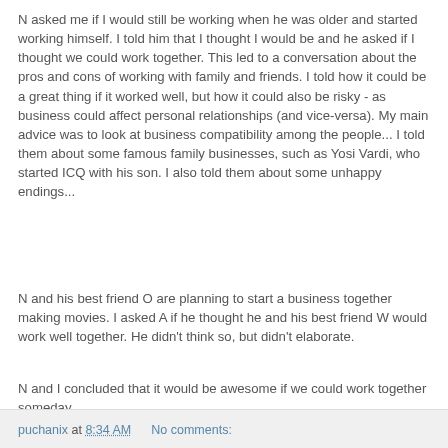N asked me if I would still be working when he was older and started working himself. I told him that I thought I would be and he asked if I thought we could work together. This led to a conversation about the pros and cons of working with family and friends. I told how it could be a great thing if it worked well, but how it could also be risky - as business could affect personal relationships (and vice-versa). My main advice was to look at business compatibility among the people... I told them about some famous family businesses, such as Yosi Vardi, who started ICQ with his son. I also told them about some unhappy endings...
N and his best friend O are planning to start a business together making movies. I asked A if he thought he and his best friend W would work well together. He didn't think so, but didn't elaborate.
N and I concluded that it would be awesome if we could work together someday...
puchanix at 8:34 AM    No comments: